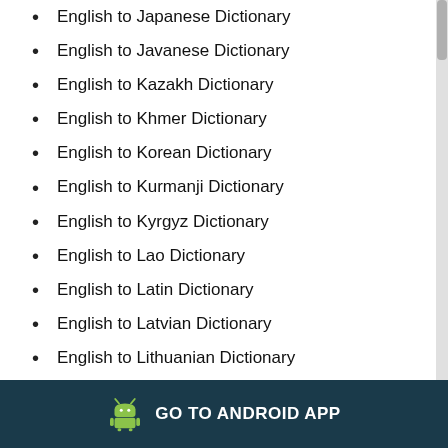English to Japanese Dictionary
English to Javanese Dictionary
English to Kazakh Dictionary
English to Khmer Dictionary
English to Korean Dictionary
English to Kurmanji Dictionary
English to Kyrgyz Dictionary
English to Lao Dictionary
English to Latin Dictionary
English to Latvian Dictionary
English to Lithuanian Dictionary
English to Luxembourgish Dicti…
GO TO ANDROID APP